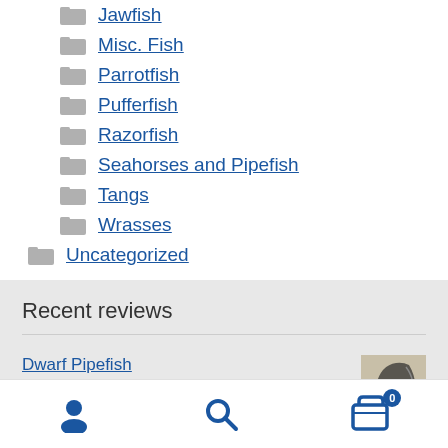Jawfish
Misc. Fish
Parrotfish
Pufferfish
Razorfish
Seahorses and Pipefish
Tangs
Wrasses
Uncategorized
Recent reviews
Dwarf Pipefish ★★★★★